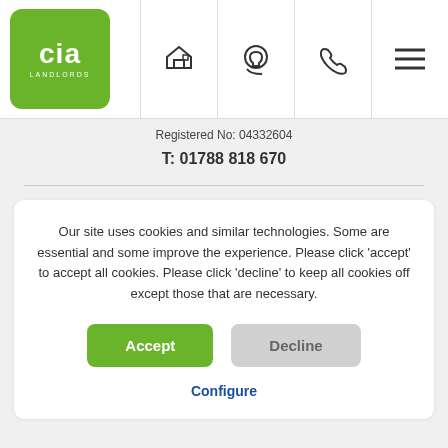[Figure (logo): CIA Landlords green logo with house icon]
Registered No: 04332604
T: 01788 818 670
Our site uses cookies and similar technologies. Some are essential and some improve the experience. Please click 'accept' to accept all cookies. Please click 'decline' to keep all cookies off except those that are necessary.
Accept
Decline
Configure